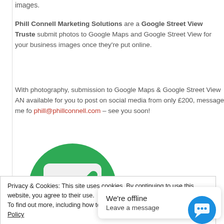images.
Phill Connell Marketing Solutions are a Google Street View Trusted photographer — we submit photos to Google Maps and Google Street View for your business, and you own the images once they're put online.
With photography, submission to Google Maps & Google Street View AND the images available for you to post on social media from only £200, message me for details at phill@phillconnell.com – see you soon!
[Figure (logo): Google Street View Trusted green circle with white checkmark badge]
Privacy & Cookies: This site uses cookies. By continuing to use this website, you agree to their use.
To find out more, including how to control cookies, see here: Cookie Policy
We're offline
Leave a message
[Figure (illustration): Blue circular chat widget button with speech bubble icon]
trusted